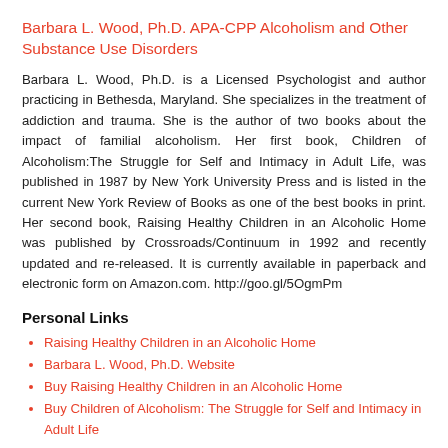Barbara L. Wood, Ph.D. APA-CPP Alcoholism and Other Substance Use Disorders
Barbara L. Wood, Ph.D. is a Licensed Psychologist and author practicing in Bethesda, Maryland. She specializes in the treatment of addiction and trauma. She is the author of two books about the impact of familial alcoholism. Her first book, Children of Alcoholism:The Struggle for Self and Intimacy in Adult Life, was published in 1987 by New York University Press and is listed in the current New York Review of Books as one of the best books in print. Her second book, Raising Healthy Children in an Alcoholic Home was published by Crossroads/Continuum in 1992 and recently updated and re-released. It is currently available in paperback and electronic form on Amazon.com. http://goo.gl/5OgmPm
Personal Links
Raising Healthy Children in an Alcoholic Home
Barbara L. Wood, Ph.D. Website
Buy Raising Healthy Children in an Alcoholic Home
Buy Children of Alcoholism: The Struggle for Self and Intimacy in Adult Life